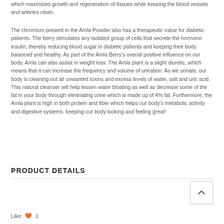which maximizes growth and regeneration of tissues while keeping the blood vessels and arteries clean.
The chromium present in the Amla Powder also has a therapeutic value for diabetic patients. The berry stimulates any isolated group of cells that secrete the hormone insulin, thereby reducing blood sugar in diabetic patients and keeping their body balanced and healthy. As part of the Amla Berry's overall positive influence on our body, Amla can also assist in weight loss. The Amla plant is a slight diuretic, which means that it can increase the frequency and volume of urination. As we urinate, our body is cleaning out all unwanted toxins and excess levels of water, salt and uric acid. This natural cleanser will help lessen water bloating as well as decrease some of the fat in your body through eliminating urine which is made up of 4% fat. Furthermore, the Amla plant is high in both protein and fiber which helps our body's metabolic activity and digestive systems, keeping our body looking and feeling great!
PRODUCT DETAILS
Like: